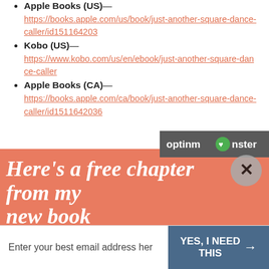Apple Books (US)— https://books.apple.com/us/book/just-another-square-dance-caller/id151164203
Kobo (US)— https://www.kobo.com/us/en/ebook/just-another-square-dance-caller
Apple Books (CA)— https://books.apple.com/ca/book/just-another-square-dance-caller/id1511642036
[Figure (logo): OptinMonster logo badge in dark grey]
Here's a free chapter from my new book
Sign up for my newsletter and get the first chapter of my new book for free.
[Figure (other): Close button X circle overlay]
Enter your best email address her
YES, I NEED THIS →